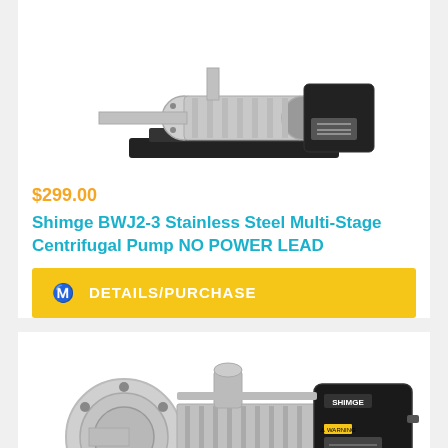[Figure (photo): Shimge BWJ2-3 stainless steel multi-stage centrifugal pump on black base, side-angled view, white background]
$299.00
Shimge BWJ2-3 Stainless Steel Multi-Stage Centrifugal Pump NO POWER LEAD
DETAILS/PURCHASE
[Figure (photo): Shimge horizontal multi-stage centrifugal pump, stainless steel body with black motor, front-angled view, white background]
Leave a message